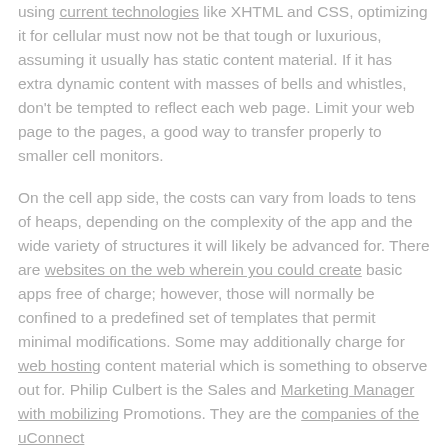using current technologies like XHTML and CSS, optimizing it for cellular must now not be that tough or luxurious, assuming it usually has static content material. If it has extra dynamic content with masses of bells and whistles, don't be tempted to reflect each web page. Limit your web page to the pages, a good way to transfer properly to smaller cell monitors.

On the cell app side, the costs can vary from loads to tens of heaps, depending on the complexity of the app and the wide variety of structures it will likely be advanced for. There are websites on the web wherein you could create basic apps free of charge; however, those will normally be confined to a predefined set of templates that permit minimal modifications. Some may additionally charge for web hosting content material which is something to observe out for. Philip Culbert is the Sales and Marketing Manager with mobilizing Promotions. They are the companies of the uConnect